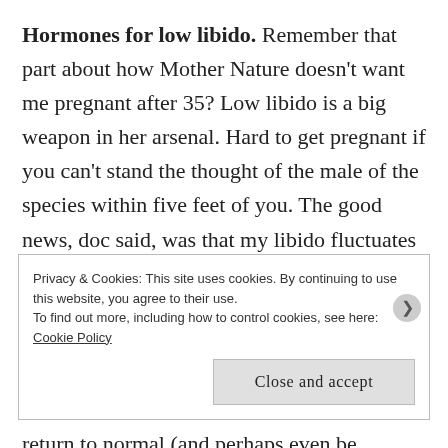Hormones for low libido. Remember that part about how Mother Nature doesn't want me pregnant after 35? Low libido is a big weapon in her arsenal. Hard to get pregnant if you can't stand the thought of the male of the species within five feet of you. The good news, doc said, was that my libido fluctuates during my cycle – high right after my period, progressively lower as my period approaches. That means my low libido is related to my hormone fluctuations and not something else, and can be addressed – and also that it will return to normal (and perhaps even be
Privacy & Cookies: This site uses cookies. By continuing to use this website, you agree to their use.
To find out more, including how to control cookies, see here: Cookie Policy
Close and accept